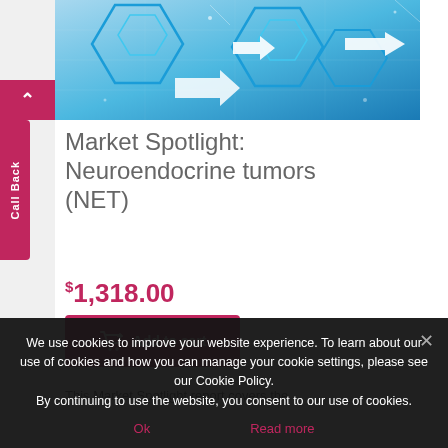[Figure (illustration): Blue hexagonal network/technology graphic with white arrows pointing right, used as product hero image]
Market Spotlight: Neuroendocrine tumors (NET)
$1,318.00
Add to cart
This Market Spotlight report covers the
We use cookies to improve your website experience. To learn about our use of cookies and how you can manage your cookie settings, please see our Cookie Policy.
By continuing to use the website, you consent to our use of cookies.
Ok
Read more